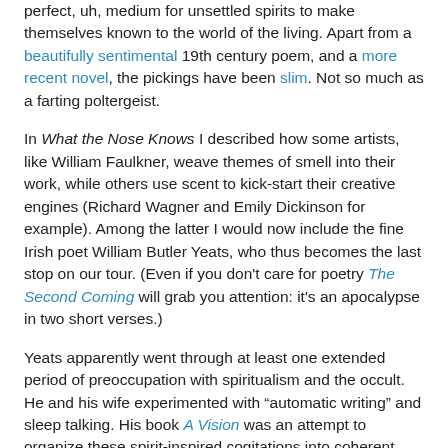perfect, uh, medium for unsettled spirits to make themselves known to the world of the living. Apart from a beautifully sentimental 19th century poem, and a more recent novel, the pickings have been slim. Not so much as a farting poltergeist.
In What the Nose Knows I described how some artists, like William Faulkner, weave themes of smell into their work, while others use scent to kick-start their creative engines (Richard Wagner and Emily Dickinson for example). Among the latter I would now include the fine Irish poet William Butler Yeats, who thus becomes the last stop on our tour. (Even if you don't care for poetry The Second Coming will grab you attention: it's an apocalypse in two short verses.)
Yeats apparently went through at least one extended period of preoccupation with spiritualism and the occult. He and his wife experimented with "automatic writing" and sleep talking. His book A Vision was an attempt to organize these spirit-inspired cogitations into coherent prose. He relates the various ways the "communicators" made contact:
Sweet smells were the most constant.